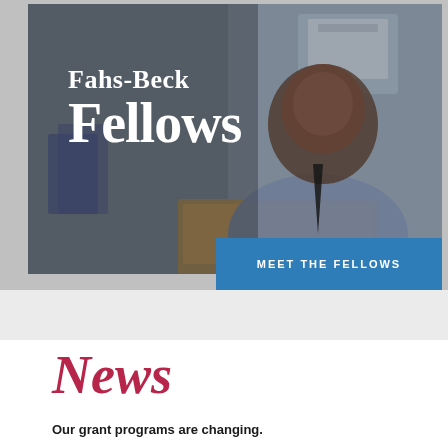[Figure (photo): Photo of a smiling man in a blue dress shirt and dark tie, sitting at a desk with a laptop, with office equipment in the background. Overlaid with bold white text reading 'Fahs-Beck Fellows' and a blue banner reading 'MEET THE FELLOWS'.]
News
Our grant programs are changing.